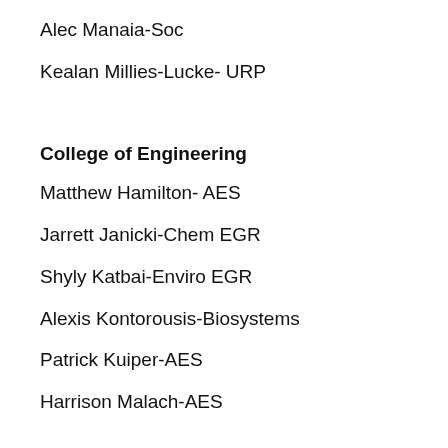Alec Manaia-Soc
Kealan Millies-Lucke- URP
College of Engineering
Matthew Hamilton- AES
Jarrett Janicki-Chem EGR
Shyly Katbai-Enviro EGR
Alexis Kontorousis-Biosystems
Patrick Kuiper-AES
Harrison Malach-AES